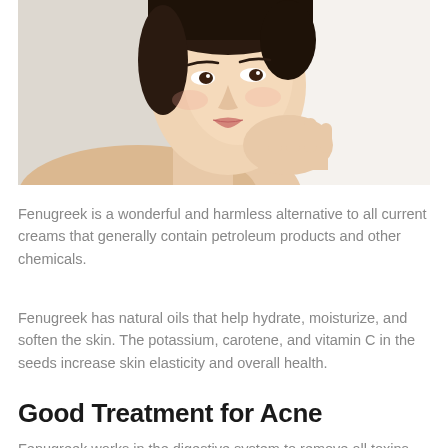[Figure (photo): Woman with clear skin touching her face/chin with her hand against a light background, demonstrating healthy skin]
Fenugreek is a wonderful and harmless alternative to all current creams that generally contain petroleum products and other chemicals.
Fenugreek has natural oils that help hydrate, moisturize, and soften the skin. The potassium, carotene, and vitamin C in the seeds increase skin elasticity and overall health.
Good Treatment for Acne
Fenugreek works in the digestive system to remove all toxins from